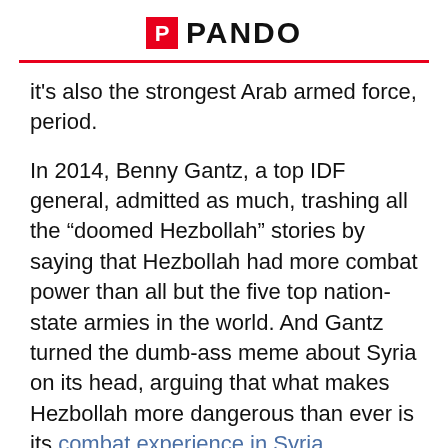PANDO
it's also the strongest Arab armed force, period.

In 2014, Benny Gantz, a top IDF general, admitted as much, trashing all the “doomed Hezbollah” stories by saying that Hezbollah had more combat power than all but the five top nation-state armies in the world. And Gantz turned the dumb-ass meme about Syria on its head, arguing that what makes Hezbollah more dangerous than ever is its combat experience in Syria.